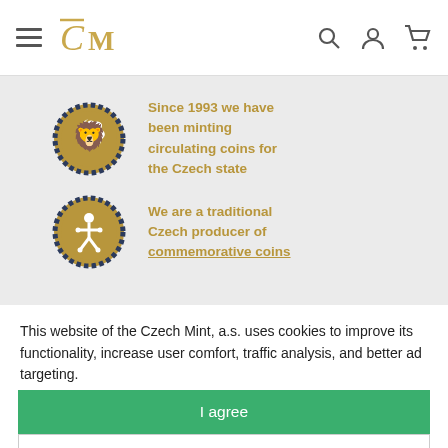Czech Mint navigation header with logo, search, account and cart icons
[Figure (illustration): Czech Mint coin badge with lion emblem and text: Since 1993 we have been minting circulating coins for the Czech state]
[Figure (illustration): Czech Mint coin badge with figure emblem and text: We are a traditional Czech producer of commemorative coins]
This website of the Czech Mint, a.s. uses cookies to improve its functionality, increase user comfort, traffic analysis, and better ad targeting.
For more information on cookies and privacy, click here.
I agree
Detailed settings